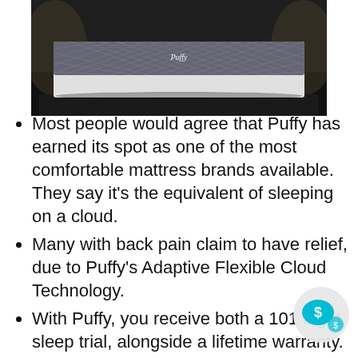[Figure (photo): Photo of a Puffy mattress on a dark platform/bed frame against a dark background]
Most people would agree that Puffy has earned its spot as one of the most comfortable mattress brands available. They say it’s the equivalent of sleeping on a cloud.
Many with back pain claim to have relief, due to Puffy’s Adaptive Flexible Cloud Technology.
With Puffy, you receive both a 101 night sleep trial, alongside a lifetime warranty.
Incredible mattress for your mo... Very high quality mattress. It do... 2 days before the Puffy Mattress is